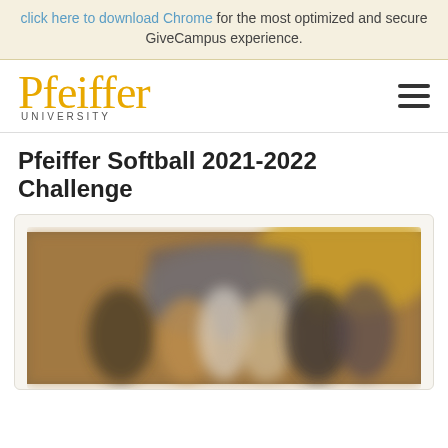click here to download Chrome for the most optimized and secure GiveCampus experience.
[Figure (logo): Pfeiffer University logo in gold serif font with 'UNIVERSITY' in small caps below, and hamburger menu icon on the right]
Pfeiffer Softball 2021-2022 Challenge
[Figure (photo): Blurred photo of a group of softball players or team members standing under an arch, with warm golden and brown tones]